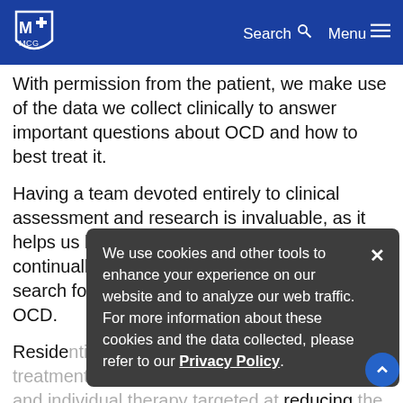McLean Hospital — Search Menu
With permission from the patient, we make use of the data we collect clinically to answer important questions about OCD and how to best treat it.
Having a team devoted entirely to clinical assessment and research is invaluable, as it helps us better serve our patients and continually improve our program while we search for new and innovative ways to treat OCD.
Residential (OCD Program) patients follow their treatment with a combination of group, family, and individual therapy targeted at reducing the severity of the patient's symptoms and providing the individual with tools to prevent relapse.
We use cookies and other tools to enhance your experience on our website and to analyze our web traffic. For more information about these cookies and the data collected, please refer to our Privacy Policy.
The residential treatment program ensures that both the